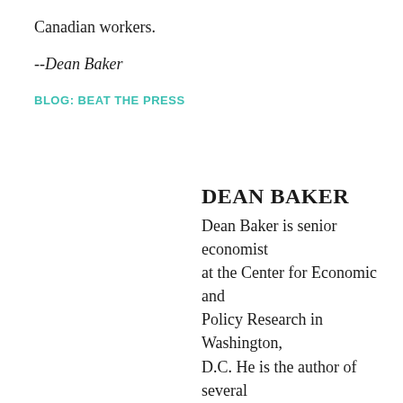Canadian workers.
--Dean Baker
BLOG: BEAT THE PRESS
DEAN BAKER
Dean Baker is senior economist at the Center for Economic and Policy Research in Washington, D.C. He is the author of several books, including 'Rigged: How Globalization and the Rules of the Modern Economy Were Structured to Make the Rich Richer.'